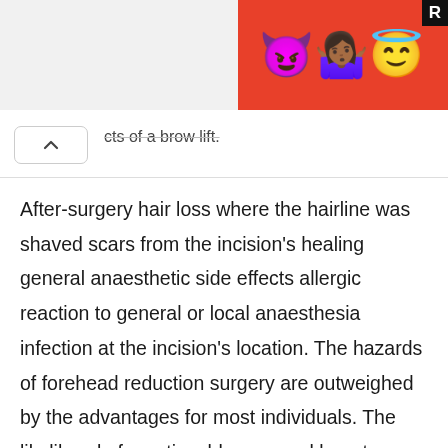[Figure (screenshot): Advertisement banner with emoji characters (devil, woman with hands up, halo face) on red background with black R box in corner]
cts of a brow lift.
After-surgery hair loss where the hairline was shaved scars from the incision's healing general anaesthetic side effects allergic reaction to general or local anaesthesia infection at the incision's location. The hazards of forehead reduction surgery are outweighed by the advantages for most individuals. The likelihood of a noticeable scar and long-term side effects are greatly reduced when an expert, trained